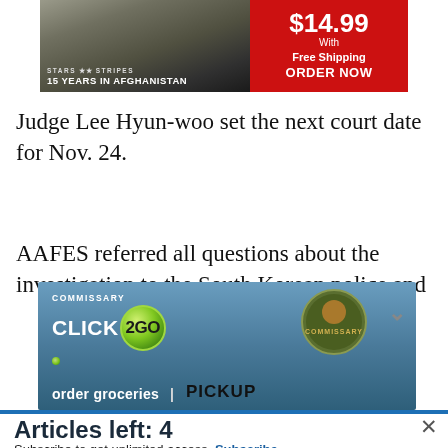[Figure (screenshot): Advertisement banner for Stars and Stripes '15 Years in Afghanistan' book, showing $14.99 price with free shipping and Order Now button on red background]
Judge Lee Hyun-woo set the next court date for Nov. 24.
AAFES referred all questions about the investigation to the South Korean police and
[Figure (screenshot): Commissary Click2Go advertisement banner with green logo, commissary badge, and text 'order groceries | PICKUP']
Articles left: 4
Subscribe to get unlimited access  Subscribe
Already have an account?  Login here